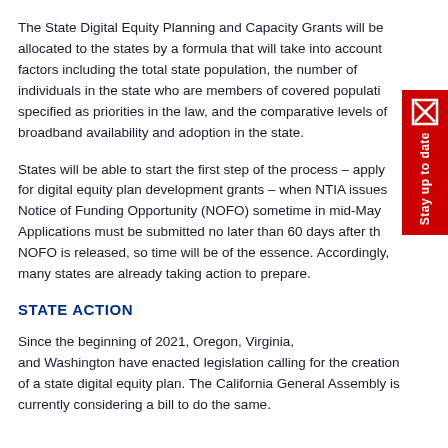The State Digital Equity Planning and Capacity Grants will be allocated to the states by a formula that will take into account factors including the total state population, the number of individuals in the state who are members of covered populations specified as priorities in the law, and the comparative levels of broadband availability and adoption in the state.
States will be able to start the first step of the process – applying for digital equity plan development grants – when NTIA issues a Notice of Funding Opportunity (NOFO) sometime in mid-May. Applications must be submitted no later than 60 days after the NOFO is released, so time will be of the essence. Accordingly, many states are already taking action to prepare.
STATE ACTION
Since the beginning of 2021, Oregon, Virginia, and Washington have enacted legislation calling for the creation of a state digital equity plan. The California General Assembly is currently considering a bill to do the same.